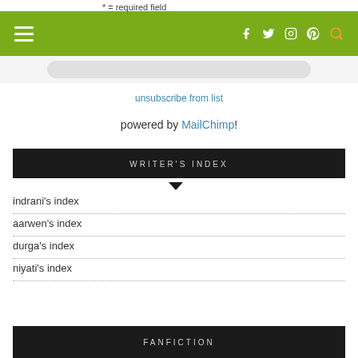* = required field (navigation bar with hamburger menu and social icons)
* = required field
unsubscribe from list
powered by MailChimp!
WRITER'S INDEX
indrani's index
aarwen's index
durga's index
niyati's index
FANFICTION